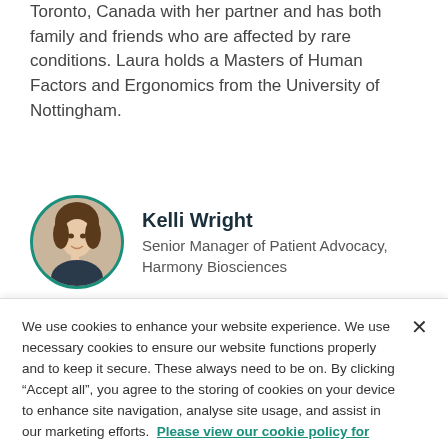Toronto, Canada with her partner and has both family and friends who are affected by rare conditions. Laura holds a Masters of Human Factors and Ergonomics from the University of Nottingham.
[Figure (photo): Circular portrait photo of Kelli Wright with teal border]
Kelli Wright
Senior Manager of Patient Advocacy, Harmony Biosciences
We use cookies to enhance your website experience. We use necessary cookies to ensure our website functions properly and to keep it secure. These always need to be on. By clicking “Accept all”, you agree to the storing of cookies on your device to enhance site navigation, analyse site usage, and assist in our marketing efforts. Please view our cookie policy for further details.
Cookies Settings
Accept All Cookies